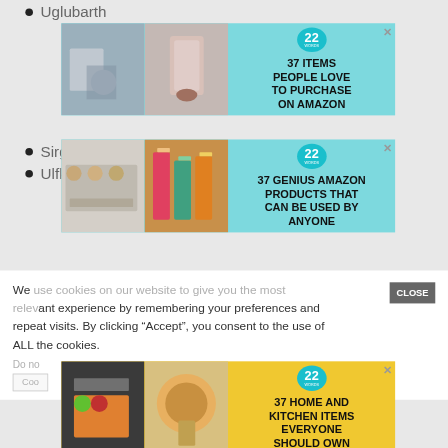Uglubarth
[Figure (infographic): Advertisement: 37 Items People Love To Purchase On Amazon — teal background with product photos and 22 badge]
Sirginin (2)
Ulfkit (10)
[Figure (infographic): Advertisement: 37 Genius Amazon Products That Can Be Used By Anyone — teal background with cookies and lip balm photos and 22 badge]
Offer
We use cookies on our website to give you the most relevant experience by remembering your preferences and repeat visits. By clicking “Accept”, you consent to the use of ALL the cookies.
Do not sell my personal information
Cookie Settings
[Figure (infographic): Advertisement: 37 Home And Kitchen Items Everyone Should Own — yellow background with food and drink photos and 22 badge]